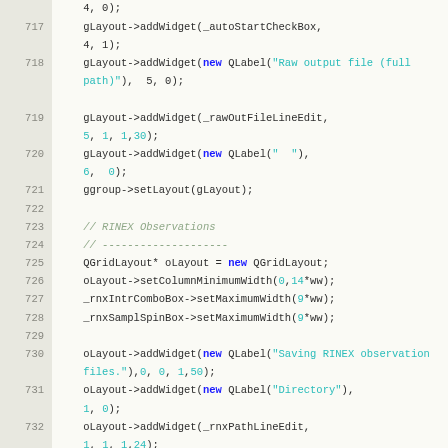[Figure (screenshot): Source code screenshot showing C++ Qt widget layout code, lines 717-736, with syntax highlighting. Line numbers on left in beige/tan column, code on right with keywords in blue/bold, string literals in teal/cyan, comments in green italic.]